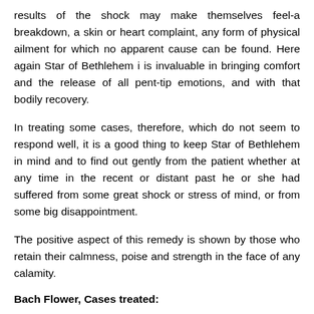results of the shock may make themselves feel-a breakdown, a skin or heart complaint, any form of physical ailment for which no apparent cause can be found. Here again Star of Bethlehem i is invaluable in bringing comfort and the release of all pent-tip emotions, and with that bodily recovery.
In treating some cases, therefore, which do not seem to respond well, it is a good thing to keep Star of Bethlehem in mind and to find out gently from the patient whether at any time in the recent or distant past he or she had suffered from some great shock or stress of mind, or from some big disappointment.
The positive aspect of this remedy is shown by those who retain their calmness, poise and strength in the face of any calamity.
Bach Flower, Cases treated:
Ruslana, told us in June 2022, "I was in Ukraine until of May 22 when we were bombed, and I have